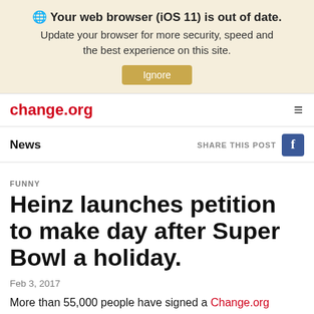🌐 Your web browser (iOS 11) is out of date. Update your browser for more security, speed and the best experience on this site. Ignore
change.org
News    SHARE THIS POST  [Facebook icon]
FUNNY
Heinz launches petition to make day after Super Bowl a holiday.
Feb 3, 2017
More than 55,000 people have signed a Change.org petition...